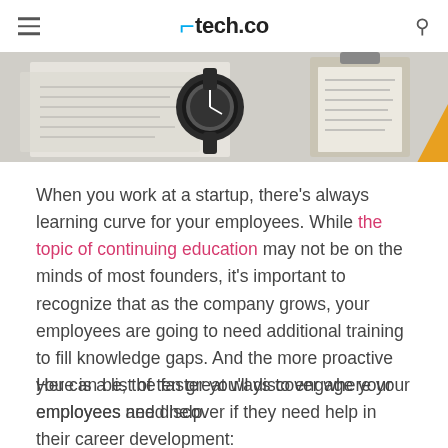tech.co
[Figure (photo): A desk scene with architectural drawings, a wristwatch, and papers — a hero image for an article about employee training at startups]
When you work at a startup, there's always learning curve for your employees. While the topic of continuing education may not be on the minds of most founders, it's important to recognize that as the company grows, your employees are going to need additional training to fill knowledge gaps. And the more proactive you can be, the faster you'll discover where your employees need help.
Here is a list of ten great ways to engage your employees and discover if they need help in their career development: